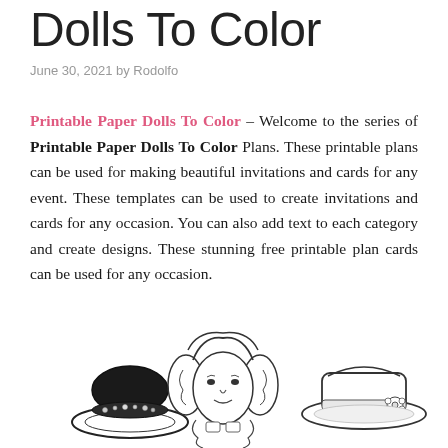Dolls To Color
June 30, 2021 by Rodolfo
Printable Paper Dolls To Color – Welcome to the series of Printable Paper Dolls To Color Plans. These printable plans can be used for making beautiful invitations and cards for any event. These templates can be used to create invitations and cards for any occasion. You can also add text to each category and create designs. These stunning free printable plan cards can be used for any occasion.
[Figure (illustration): Three vintage paper doll illustrations: a black decorative hat on the left, a girl's head with curly hair in the center, and a white wide-brim hat with decoration on the right.]